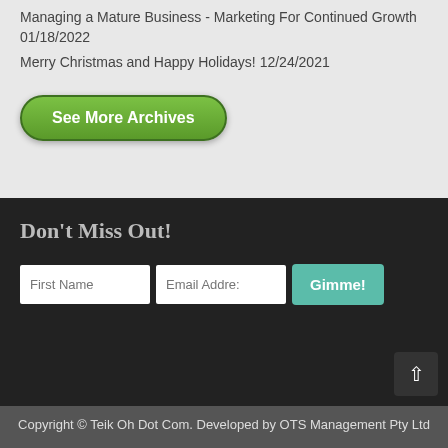Managing a Mature Business - Marketing For Continued Growth 01/18/2022
Merry Christmas and Happy Holidays! 12/24/2021
See More Archives
Don't Miss Out!
First Name | Email Address | Gimme!
Copyright © Teik Oh Dot Com. Developed by OTS Management Pty Ltd